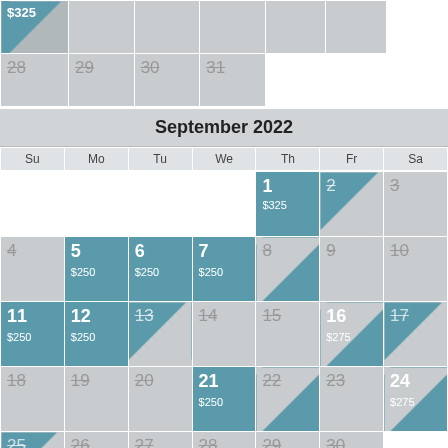| Su | Mo | Tu | We | Th | Fr | Sa |
| --- | --- | --- | --- | --- | --- | --- |
| 28 (strikethrough) | 29 (strikethrough) | 30 (strikethrough) | 31 (strikethrough) |  |  |  |
| $325 (price in corner) |  |  |  |  |  |  |
September 2022
| Su | Mo | Tu | We | Th | Fr | Sa |
| --- | --- | --- | --- | --- | --- | --- |
|  |  |  |  | 1 $325 | 2 | 3 |
| 4 | 5 $250 | 6 $250 | 7 $250 | 8 | 9 | 10 |
| 11 $250 | 12 $250 | 13 | 14 | 15 | 16 $275 | 17 |
| 18 | 19 | 20 | 21 $250 | 22 | 23 | 24 $275 |
| 25 | 26 | 27 | 28 | 29 | 30 |  |
October 2022
| Su | Mo | Tu | We | Th | Fr | Sa |
| --- | --- | --- | --- | --- | --- | --- |